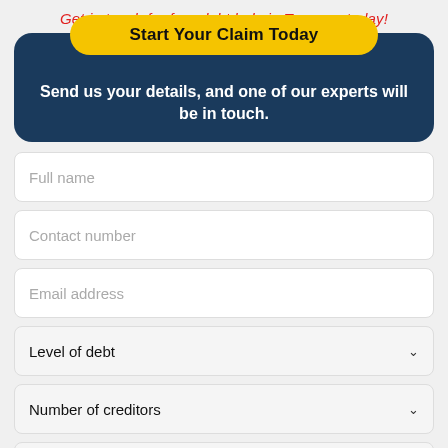Get in touch for free debt help in Torcross today!
Start Your Claim Today
Send us your details, and one of our experts will be in touch.
Full name
Contact number
Email address
Level of debt
Number of creditors
Employment status